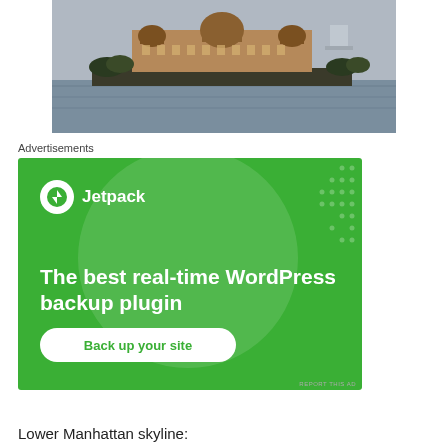[Figure (photo): Photograph of Ellis Island or similar landmark building seen from across water, with a large ornate historic building with domed towers on a flat shoreline, gray sky and water in the foreground.]
Advertisements
[Figure (screenshot): Jetpack advertisement banner with green background. Shows Jetpack logo and text: 'The best real-time WordPress backup plugin' with a 'Back up your site' button. REPORT THIS AD text at bottom right.]
Lower Manhattan skyline: